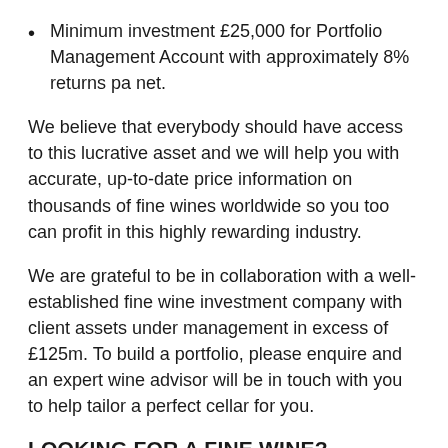Minimum investment £25,000 for Portfolio Management Account with approximately 8% returns pa net.
We believe that everybody should have access to this lucrative asset and we will help you with accurate, up-to-date price information on thousands of fine wines worldwide so you too can profit in this highly rewarding industry.
We are grateful to be in collaboration with a well-established fine wine investment company with client assets under management in excess of £125m. To build a portfolio, please enquire and an expert wine advisor will be in touch with you to help tailor a perfect cellar for you.
LOOKING FOR A FINE WINE?